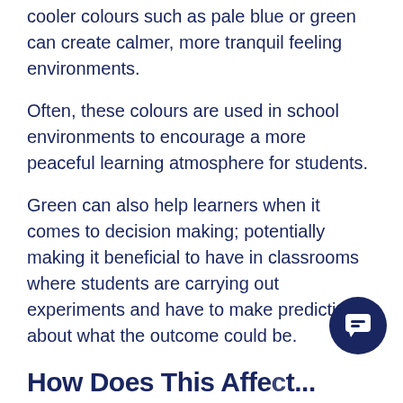cooler colours such as pale blue or green can create calmer, more tranquil feeling environments.
Often, these colours are used in school environments to encourage a more peaceful learning atmosphere for students.
Green can also help learners when it comes to decision making; potentially making it beneficial to have in classrooms where students are carrying out experiments and have to make predictions about what the outcome could be.
How Does This Affe...